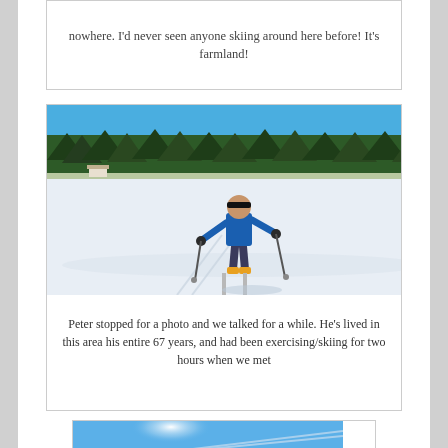nowhere. I'd never seen anyone skiing around here before! It's farmland!
[Figure (photo): A person in a blue jacket and dark pants cross-country skiing on a snowy open field. There is a dark forest tree line in the background and a bright blue sky. The skier is using poles and wearing yellow boots.]
Peter stopped for a photo and we talked for a while. He's lived in this area his entire 67 years, and had been exercising/skiing for two hours when we met
[Figure (photo): Partial photo showing a bright blue sky with sunlight and what appears to be ski tracks or lines in snow.]